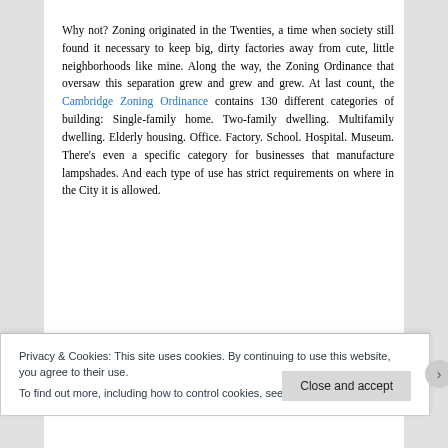Why not? Zoning originated in the Twenties, a time when society still found it necessary to keep big, dirty factories away from cute, little neighborhoods like mine. Along the way, the Zoning Ordinance that oversaw this separation grew and grew and grew. At last count, the Cambridge Zoning Ordinance contains 130 different categories of building: Single-family home. Two-family dwelling. Multifamily dwelling. Elderly housing. Office. Factory. School. Hospital. Museum. There's even a specific category for businesses that manufacture lampshades. And each type of use has strict requirements on where in the City it is allowed.
Privacy & Cookies: This site uses cookies. By continuing to use this website, you agree to their use. To find out more, including how to control cookies, see here: Cookie Policy